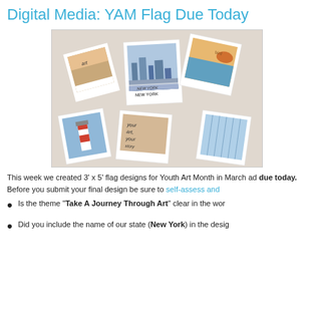Digital Media: YAM Flag Due Today
[Figure (photo): A collage of polaroid-style drawings/artworks fanned out, including a cityscape labeled 'NEW YORK', a lighthouse, birds, buildings, and other art pieces with text 'your art, your story']
This week we created 3' x 5' flag designs for Youth Art Month in March ad due today. Before you submit your final design be sure to self-assess and
Is the theme “Take A Journey Through Art” clear in the wor
Did you include the name of our state (New York) in the desig